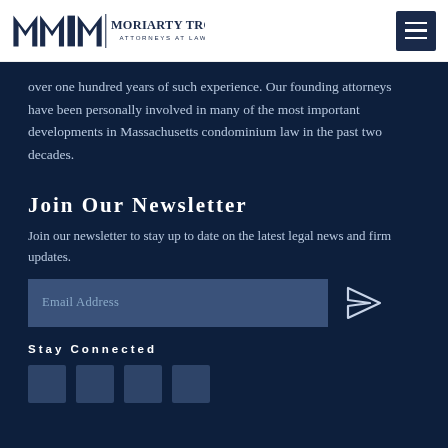Moriarty Troyer & Malloy LLC — Attorneys at Law
over one hundred years of such experience. Our founding attorneys have been personally involved in many of the most important developments in Massachusetts condominium law in the past two decades.
Join Our Newsletter
Join our newsletter to stay up to date on the latest legal news and firm updates.
Stay Connected